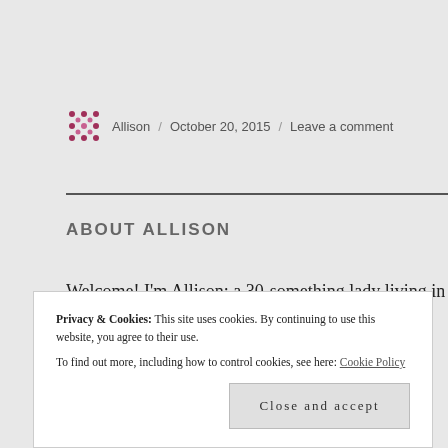Allison / October 20, 2015 / Leave a comment
ABOUT ALLISON
Welcome! I'm Allison: a 30-something lady living in New York City, seeing theatre, doing yoga, being a cat-mom.
Privacy & Cookies: This site uses cookies. By continuing to use this website, you agree to their use. To find out more, including how to control cookies, see here: Cookie Policy